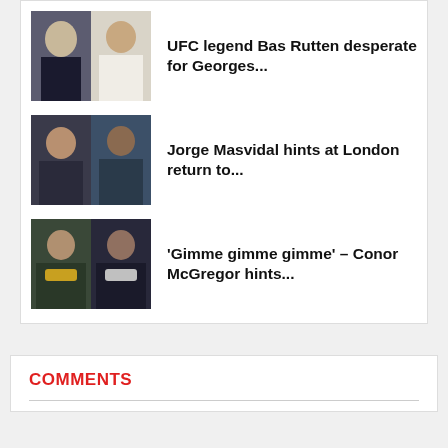[Figure (photo): Two MMA fighters side by side — one in dark gi, one in white gi (Bas Rutten related)]
UFC legend Bas Rutten desperate for Georges...
[Figure (photo): Two fighters side by side — Jorge Masvidal and Leon Edwards]
Jorge Masvidal hints at London return to...
[Figure (photo): Two UFC champions holding belts — Conor McGregor and another fighter]
'Gimme gimme gimme' – Conor McGregor hints...
COMMENTS